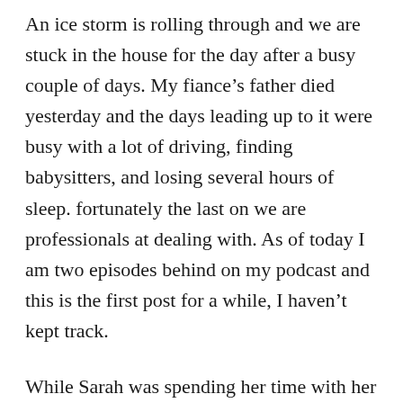An ice storm is rolling through and we are stuck in the house for the day after a busy couple of days. My fiance's father died yesterday and the days leading up to it were busy with a lot of driving, finding babysitters, and losing several hours of sleep. fortunately the last on we are professionals at dealing with. As of today I am two episodes behind on my podcast and this is the first post for a while, I haven't kept track.
While Sarah was spending her time with her dad, trying to maintain his care, I was busy with several projects. During the day I on the